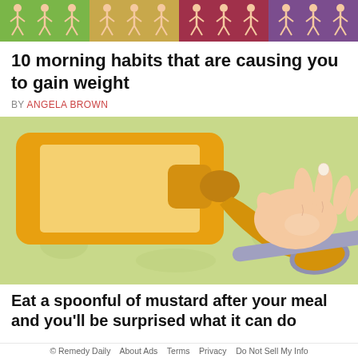[Figure (illustration): Top banner strip showing colorful illustrated stick figures in four colored segments: green, olive/tan, maroon/red, and purple.]
10 morning habits that are causing you to gain weight
BY ANGELA BROWN
[Figure (illustration): Illustration of a yellow mustard bottle pouring mustard onto a spoon held by a hand, on a light green background.]
Eat a spoonful of mustard after your meal and you'll be surprised what it can do
© Remedy Daily   About Ads   Terms   Privacy   Do Not Sell My Info